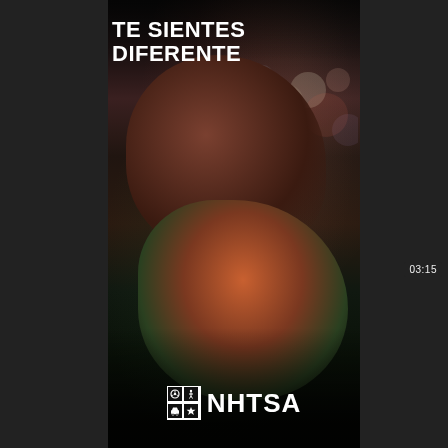[Figure (photo): NHTSA Spanish-language public safety advertisement screenshot. Dark background with a photo of two men laughing together, overlaid with Spanish text 'TE SIENTES DIFERENTE' at the top and the NHTSA logo at the bottom. Bokeh city lights visible in the background. The image appears to be a video frame with a timer showing '03:15' on the right side.]
TE SIENTES DIFERENTE
NHTSA